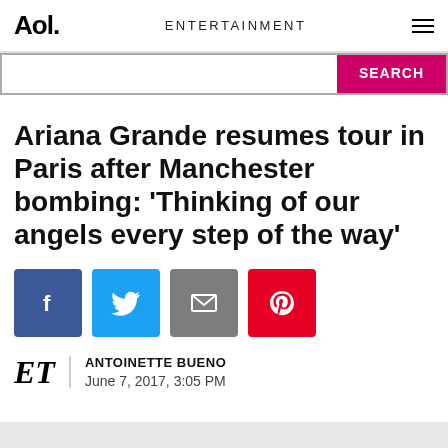Aol. ENTERTAINMENT
Ariana Grande resumes tour in Paris after Manchester bombing: 'Thinking of our angels every step of the way'
[Figure (other): Social share buttons: Facebook, Twitter, Email, Pinterest]
ANTOINETTE BUENO
June 7, 2017, 3:05 PM